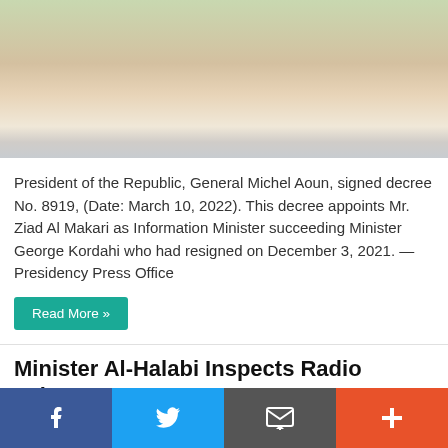[Figure (photo): Close-up photo of a smiling man's face, partially cropped at top, wearing a suit jacket]
President of the Republic, General Michel Aoun, signed decree No. 8919, (Date: March 10, 2022). This decree appoints Mr. Ziad Al Makari as Information Minister succeeding Minister George Kordahi who had resigned on December 3, 2021. — Presidency Press Office
Read More »
Minister Al-Halabi Inspects Radio Lebanon
February 23, 2022   Last News, Lebanon   0
[Figure (photo): Photo of a man in a radio broadcasting studio, partially cropped at bottom]
f   Twitter bird icon   Email icon   +